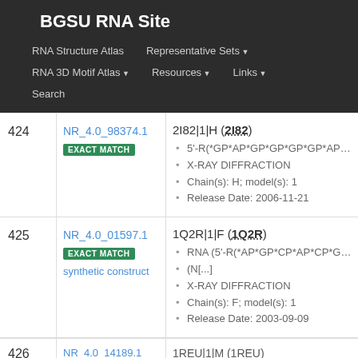BGSU RNA Site
RNA Structure Atlas | Representative Sets ▼ | RNA 3D Motif Atlas ▼ | Resources ▼ | Links ▼ | Search
| # | ID | Details |
| --- | --- | --- |
| 424 | NR_4.0_98374.1 EXACT MATCH | 2I82|1|H (2I82)
• 5'-R(*GP*AP*GP*GP*GP*GP*AP*UP*UP*GP...
• X-RAY DIFFRACTION
• Chain(s): H; model(s): 1
• Release Date: 2006-11-21 |
| 425 | NR_4.0_01597.1 EXACT MATCH synthetic construct | 1Q2R|1|F (1Q2R)
• RNA (5'-R(*AP*GP*CP*AP*CP*GP*GP*CP... (N[...]
• X-RAY DIFFRACTION
• Chain(s): F; model(s): 1
• Release Date: 2003-09-09 |
| 426 | NR_4.0_14189.1 | 1REU|1|M (1REU) |